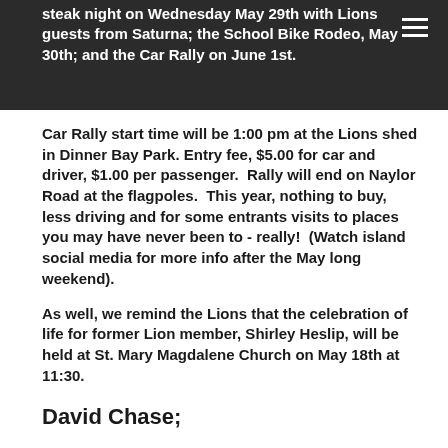steak night on Wednesday May 29th with Lions guests from Saturna; the School Bike Rodeo, May 30th; and the Car Rally on June 1st.
Car Rally start time will be 1:00 pm at the Lions shed in Dinner Bay Park. Entry fee, $5.00 for car and driver, $1.00 per passenger.  Rally will end on Naylor Road at the flagpoles.  This year, nothing to buy, less driving and for some entrants visits to places you may have never been to - really!  (Watch island social media for more info after the May long weekend).
As well, we remind the Lions that the celebration of life for former Lion member, Shirley Heslip, will be held at St. Mary Magdalene Church on May 18th at 11:30.
David Chase;